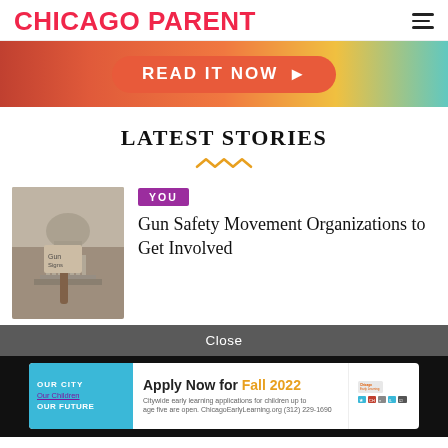CHICAGO PARENT
[Figure (other): Advertisement banner with orange/coral gradient background and 'READ IT NOW' call to action button]
LATEST STORIES
[Figure (photo): Photo of US Capitol building with a person holding a protest sign in the foreground]
YOU
Gun Safety Movement Organizations to Get Involved
Close
[Figure (other): Chicago Early Learning advertisement: Apply Now for Fall 2022. Citywide early learning applications for children up to age five are open. ChicagoEarlyLearning.org (312) 229-1690]